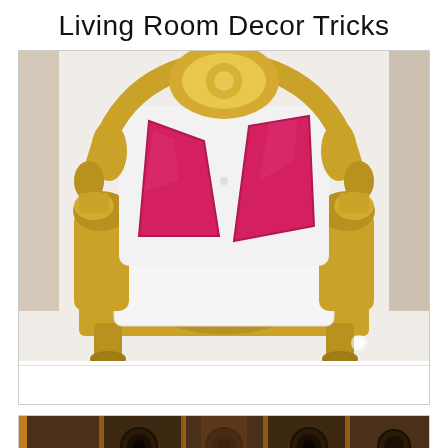Living Room Decor Tricks
[Figure (photo): Ornate gold-framed throne-style armchair with white upholstery and two hot pink/magenta decorative pillows, photographed on a white tile floor]
[Figure (photo): Interior room photo showing wooden paneling with decorative circular elements and warm accent lighting, partially visible with a red CLOSE button overlay]